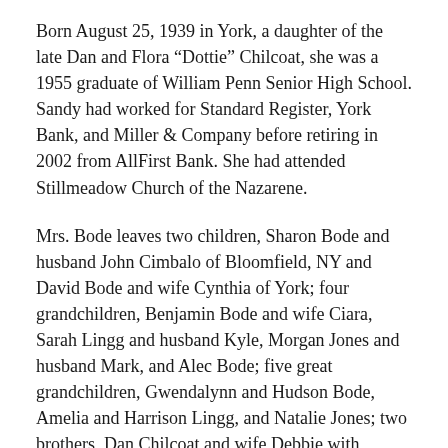Born August 25, 1939 in York, a daughter of the late Dan and Flora "Dottie" Chilcoat, she was a 1955 graduate of William Penn Senior High School. Sandy had worked for Standard Register, York Bank, and Miller & Company before retiring in 2002 from AllFirst Bank. She had attended Stillmeadow Church of the Nazarene.
Mrs. Bode leaves two children, Sharon Bode and husband John Cimbalo of Bloomfield, NY and David Bode and wife Cynthia of York; four grandchildren, Benjamin Bode and wife Ciara, Sarah Lingg and husband Kyle, Morgan Jones and husband Mark, and Alec Bode; five great grandchildren, Gwendalynn and Hudson Bode, Amelia and Harrison Lingg, and Natalie Jones; two brothers, Dan Chilcoat and wife Debbie with children Korina and Larry of Punta Gorda, FL, Randy Chilcoat and son Anthony of Lancaster; a sister, Danita Rauhauser of York with children Heather Ison and Graham Rauhauser; several nieces and nephews; and she enjoyed the love of many